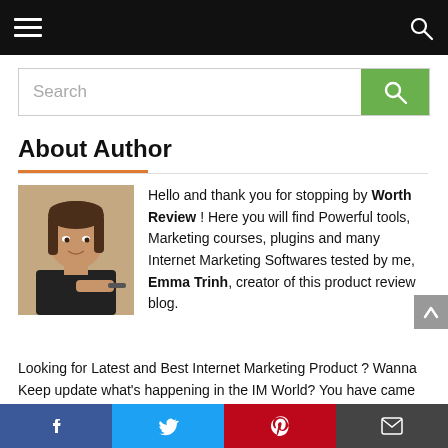Navigation bar with hamburger menu and search icon
Search
About Author
[Figure (photo): Portrait photo of a young Asian woman in a black sleeveless top, holding a pen, smiling slightly.]
Hello and thank you for stopping by Worth Review ! Here you will find Powerful tools, Marketing courses, plugins and many Internet Marketing Softwares tested by me, Emma Trinh, creator of this product review blog.
Looking for Latest and Best Internet Marketing Product ? Wanna Keep update what's happening in the IM World? You have came to the right place! You won't Miss your Best Deal,
Facebook  Twitter  Pinterest  Email